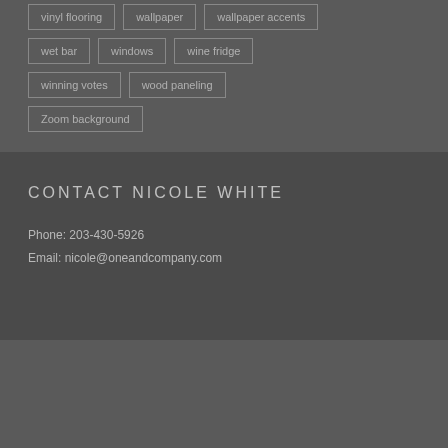vinyl flooring
wallpaper
wallpaper accents
wet bar
windows
wine fridge
winning votes
wood paneling
Zoom background
CONTACT NICOLE WHITE
Phone: 203-430-5926
Email: nicole@oneandcompany.com